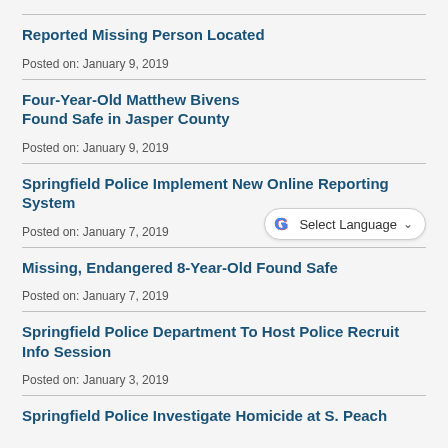Reported Missing Person Located
Posted on: January 9, 2019
Four-Year-Old Matthew Bivens Found Safe in Jasper County
Posted on: January 9, 2019
Springfield Police Implement New Online Reporting System
Posted on: January 7, 2019
Missing, Endangered 8-Year-Old Found Safe
Posted on: January 7, 2019
Springfield Police Department To Host Police Recruit Info Session
Posted on: January 3, 2019
Springfield Police Investigate Homicide at S. Peach